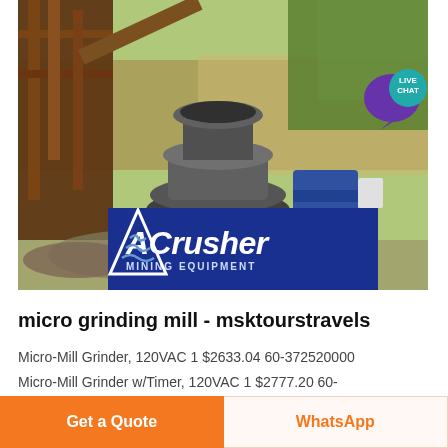[Figure (photo): Mining crushing equipment (cone crusher/grinder mill) on a riverbank with muddy water and vegetation in background. ACrusher Mining Equipment logo overlaid at bottom of photo. Live Chat bubble in top-right corner.]
micro grinding mill - msktourstravels
Micro-Mill Grinder, 120VAC 1 $2633.04 60-372520000
Micro-Mill Grinder w/Timer, 120VAC 1 $2777.20 60-